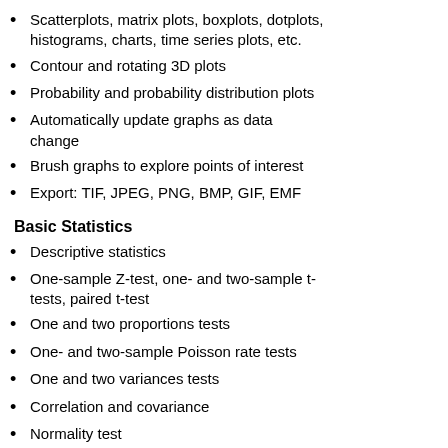Scatterplots, matrix plots, boxplots, dotplots, histograms, charts, time series plots, etc.
Contour and rotating 3D plots
Probability and probability distribution plots
Automatically update graphs as data change
Brush graphs to explore points of interest
Export: TIF, JPEG, PNG, BMP, GIF, EMF
Basic Statistics
Descriptive statistics
One-sample Z-test, one- and two-sample t-tests, paired t-test
One and two proportions tests
One- and two-sample Poisson rate tests
One and two variances tests
Correlation and covariance
Normality test
Outlier test
Poisson goodness-of-fit test